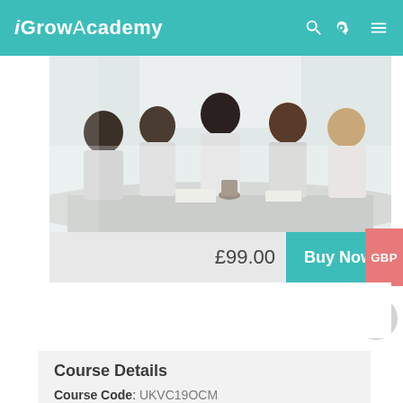iGrowAcademy
[Figure (photo): Business meeting photo showing several people sitting around a table in a bright office setting]
£99.00  Buy Now  GBP
Course Details
Course Code: UKVC19OCM